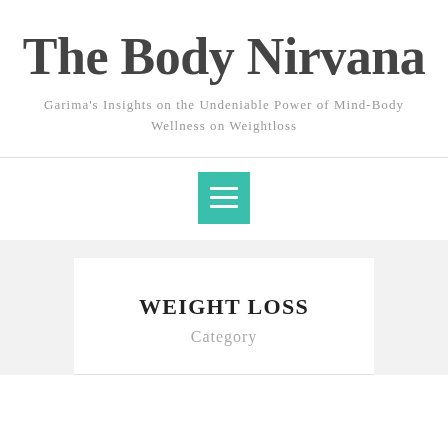The Body Nirvana
Garima's Insights on the Undeniable Power of Mind-Body Wellness on Weightloss
[Figure (other): Teal/green hamburger menu button icon with three horizontal white lines]
WEIGHT LOSS
Category